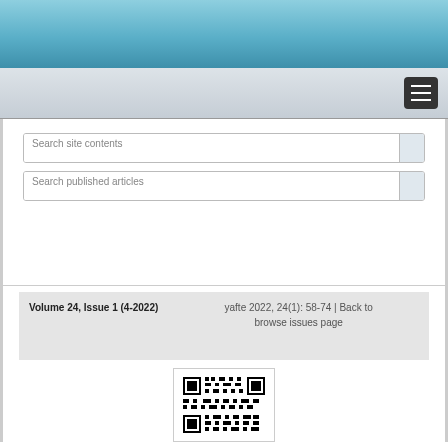[Figure (other): Blue gradient header banner at top of page]
[Figure (other): Navigation bar with hamburger menu button on right]
Search site contents
Search published articles
Volume 24, Issue 1 (4-2022)    yafte 2022, 24(1): 58-74 | Back to browse issues page
[Figure (other): QR code image]